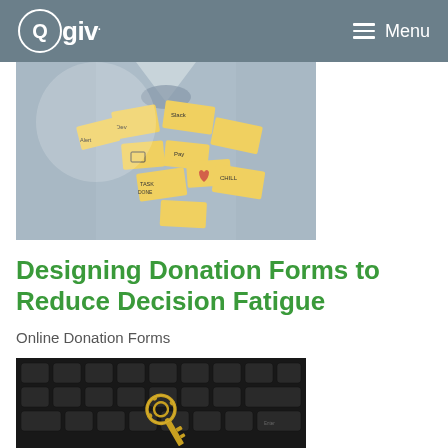Qgiv. Menu
[Figure (photo): A light blue shirt covered with sticky notes containing various handwritten words and symbols, representing information overload and decision fatigue.]
Designing Donation Forms to Reduce Decision Fatigue
Online Donation Forms
[Figure (photo): Close-up of a dark keyboard with a decorative golden key placed on top of the keys, representing access and security in online donation forms.]